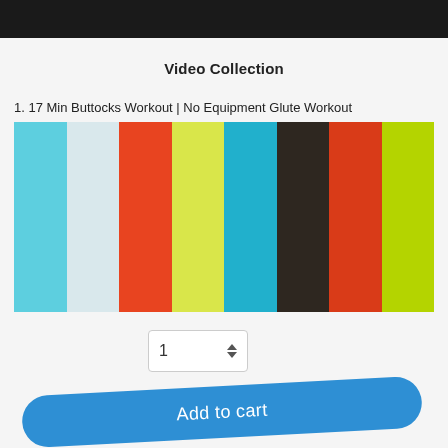[Figure (screenshot): Dark top navigation bar of a website]
Video Collection
1. 17 Min Buttocks Workout | No Equipment Glute Workout
[Figure (illustration): Colorful vertical bars in cyan, light blue, orange-red, yellow-green, cyan, dark brown, red, lime green]
1
Add to cart